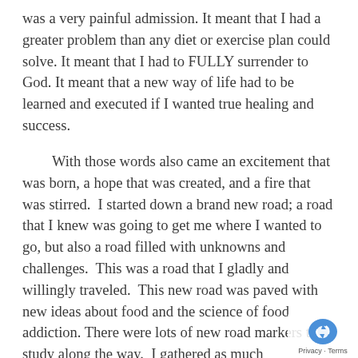was a very painful admission. It meant that I had a greater problem than any diet or exercise plan could solve. It meant that I had to FULLY surrender to God. It meant that a new way of life had to be learned and executed if I wanted true healing and success.
With those words also came an excitement that was born, a hope that was created, and a fire that was stirred. I started down a brand new road; a road that I knew was going to get me where I wanted to go, but also a road filled with unknowns and challenges. This was a road that I gladly and willingly traveled. This new road was paved with new ideas about food and the science of food addiction. There were lots of new road markers to study along the way. I gathered as much information as I could as I joyfully skipped along the road. I couldn’t see what was around the bend, but I knew there were others up ahead of me that could extend a hand along the way. Food boundaries were put in